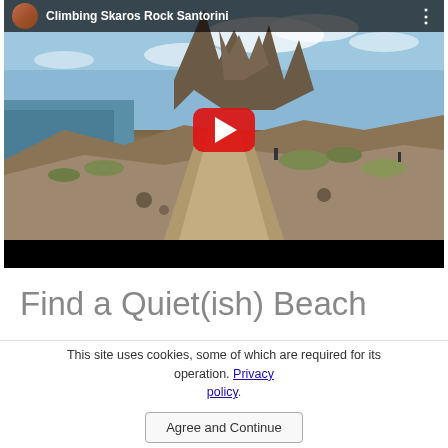[Figure (screenshot): YouTube video thumbnail showing a rocky path leading up to Skaros Rock in Santorini, with a blue sky and sea visible in the background. The video title bar reads 'Climbing Skaros Rock Santorini' with a channel icon and menu dots. A red YouTube play button is centered on the image. Below the thumbnail is a black bar.]
Find a Quiet(ish) Beach
This site uses cookies, some of which are required for its operation. Privacy policy.